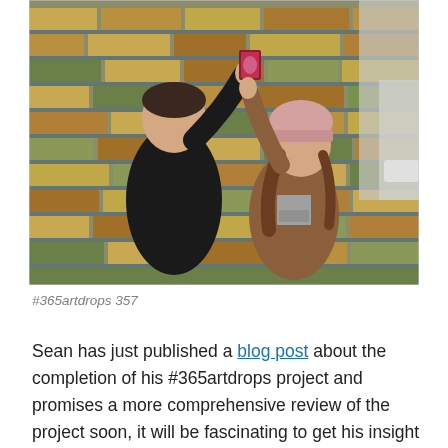[Figure (photo): Two people pressing a small artwork card against a brick wall. The man on the left wears a black leather jacket and reaches up with his right hand. The woman on the right wears a tan/brown jacket, gray shirt with 'Stella' text, and a pink beanie hat. They are standing on a street next to a multi-colored brick wall.]
#365artdrops 357
Sean has just published a blog post about the completion of his #365artdrops project and promises a more comprehensive review of the project soon, it will be fascinating to get his insight into what impacts the project